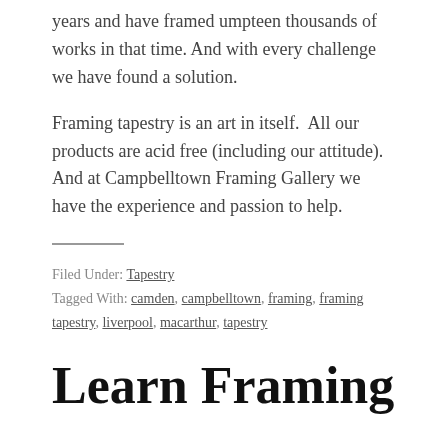years and have framed umpteen thousands of works in that time. And with every challenge we have found a solution.
Framing tapestry is an art in itself.  All our products are acid free (including our attitude).  And at Campbelltown Framing Gallery we have the experience and passion to help.
Filed Under: Tapestry
Tagged With: camden, campbelltown, framing, framing tapestry, liverpool, macarthur, tapestry
Learn Framing